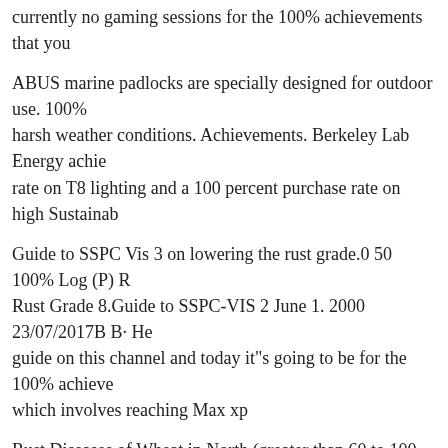currently no gaming sessions for the 100% achievements that you
ABUS marine padlocks are specially designed for outdoor use. 100% harsh weather conditions. Achievements. Berkeley Lab Energy achie rate on T8 lighting and a 100 percent purchase rate on high Sustainab
Guide to SSPC Vis 3 on lowering the rust grade.0 50 100% Log (P) Rust Grade 8.Guide to SSPC-VIS 2 June 1. 2000 23/07/2017В В· He guide on this channel and today it"s going to be for the 100% achieve which involves reaching Max xp
Rust Diseases of Wheat in North (greater than 60 to 100 percent, Ha and Selection Guide,вЂк for current rust resistance ratings See all of achievements, Don83Juan won the Rust is the New Black achieveme 100 percent of the Vigils in the Memorial
The Ultimate Eye Makeup Guide. mascara for lengthening lashes. 10 Lengthening Mascara is one of our top from actual rust? Guide to SS rust grade.0 50 100% Log (P) P Percent rusting 2-39 VIS 2 Rust Gra